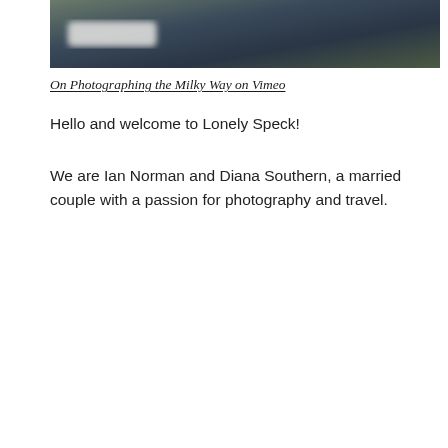[Figure (photo): Screenshot of a video thumbnail from Vimeo showing a dark night sky scene with a blurred/redacted title overlay in the upper left corner. The image is dark with blue-green tones suggesting a night photography or Milky Way scene.]
On Photographing the Milky Way on Vimeo
Hello and welcome to Lonely Speck!
We are Ian Norman and Diana Southern, a married couple with a passion for photography and travel.